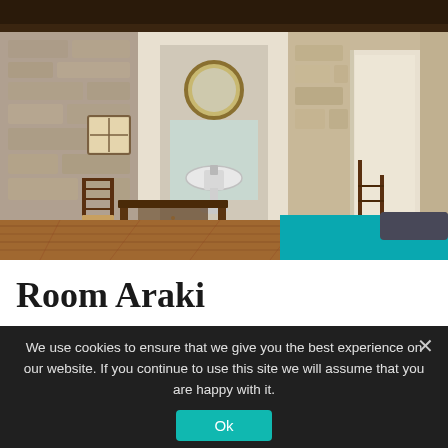[Figure (photo): Interior of Room Araki: a rustic bedroom with stone walls, wooden beam ceiling, dark wood desk and chair, round gold mirror, pedestal sink, wooden ladder chair, and a bed with a teal/turquoise comforter and dark pillow. Warm pendant lights and a window visible.]
Room Araki
We use cookies to ensure that we give you the best experience on our website. If you continue to use this site we will assume that you are happy with it.